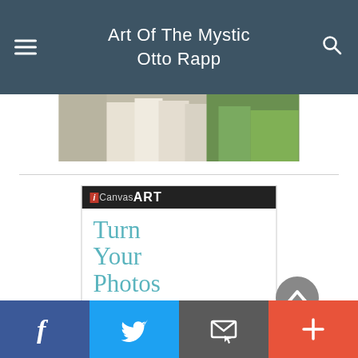Art Of The Mystic Otto Rapp
[Figure (photo): Partial photo strip showing people in white clothing outdoors with greenery]
[Figure (infographic): iCanvasART advertisement – Turn Your Photos Into Art]
[Figure (infographic): Scroll-to-top circular arrow button (grey)]
Facebook | Twitter | Email/Subscribe | More (+)